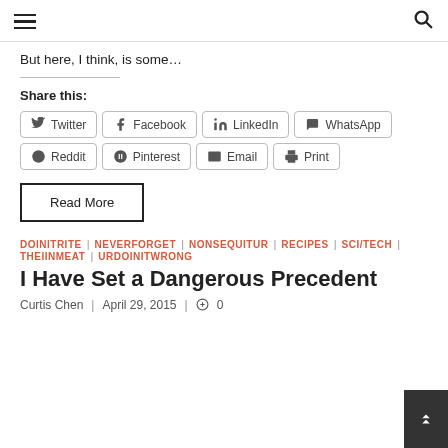Navigation header with hamburger menu and search icon
But here, I think, is some…
Share this:
Twitter | Facebook | LinkedIn | WhatsApp | Reddit | Pinterest | Email | Print
Read More
DOINITRITE | NEVERFORGET | NONSEQUITUR | RECIPES | SCI/TECH | THEIINMEAT | URDOINITWRONG
I Have Set a Dangerous Precedent
Curtis Chen | April 29, 2015 | 0